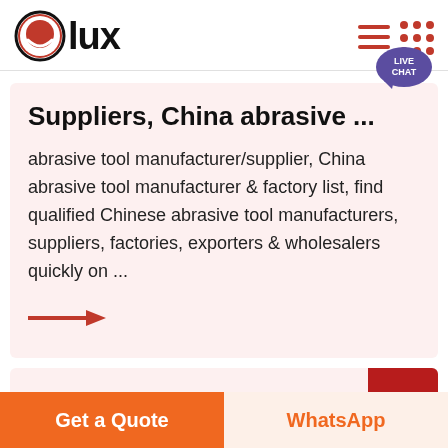[Figure (logo): Olux logo with red circle smiley face icon and bold 'lux' text]
[Figure (infographic): Navigation icons: hamburger menu (three red lines) and dot grid, plus live chat bubble]
Suppliers, China abrasive ...
abrasive tool manufacturer/supplier, China abrasive tool manufacturer & factory list, find qualified Chinese abrasive tool manufacturers, suppliers, factories, exporters & wholesalers quickly on ...
[Figure (infographic): Red right-pointing arrow]
[Figure (infographic): Partial next card strip with dark red button visible at right]
Get a Quote
WhatsApp